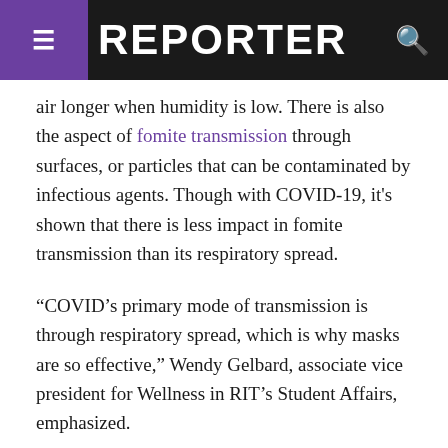REPORTER
air longer when humidity is low. There is also the aspect of fomite transmission through surfaces, or particles that can be contaminated by infectious agents. Though with COVID-19, it's shown that there is less impact in fomite transmission than its respiratory spread.
“COVID’s primary mode of transmission is through respiratory spread, which is why masks are so effective,” Wendy Gelbard, associate vice president for Wellness in RIT’s Student Affairs, emphasized.
With the winter break being as long as it is this year, it is especially important for us to stay safe for when we come back for the Spring semester.
Safety Mea...